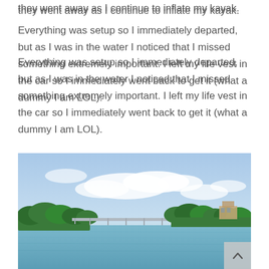they went away as I continue to inflate my kayak.
Everything was setup so I immediately departed, but as I was in the water I noticed that I missed something extremely important. I left my life vest in the car so I immediately went back to get it (what a dummy I am LOL).
[Figure (photo): A waterway scene viewed from a kayak or low vantage point on the water. There is a bridge in the middle distance, lush green trees and vegetation along the banks, a building visible on the right side, and a partly cloudy blue sky above. The water is calm and blue-green in color.]